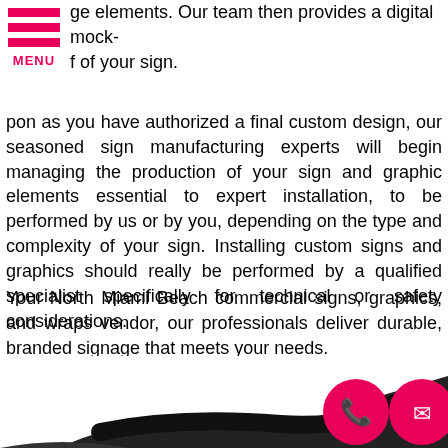[Figure (logo): Pink/magenta hamburger menu icon with three horizontal bars and MENU label below]
ge elements. Our team then provides a digital mock-f of your sign.
pon as you have authorized a final custom design, our seasoned sign manufacturing experts will begin managing the production of your sign and graphic elements essential to expert installation, to be performed by us or by you, depending on the type and complexity of your sign. Installing custom signs and graphics should really be performed by a qualified specialist specifically for technical or safety considerations.
Your North Miami Beach commercial signs, graphics, and wraps vendor, our professionals deliver durable, branded signage that meets your needs.
Free Custom Signs Consultation
[Figure (illustration): Bottom graphic showing curved arrow shape with phone and email circle icons in pink/magenta]